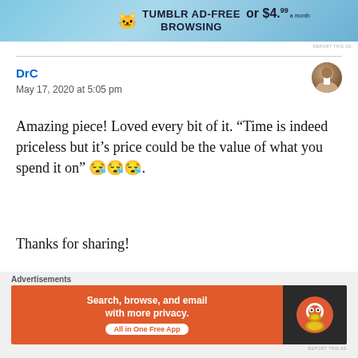[Figure (screenshot): Tumblr ad-free browsing advertisement banner at top of page]
DrC
May 17, 2020 at 5:05 pm
Amazing piece! Loved every bit of it. “Time is indeed priceless but it’s price could be the value of what you spend it on” 😪😪😪.

Thanks for sharing!
★ Liked by 1 person
[Figure (screenshot): DuckDuckGo advertisement banner at bottom: Search, browse, and email with more privacy. All in One Free App]